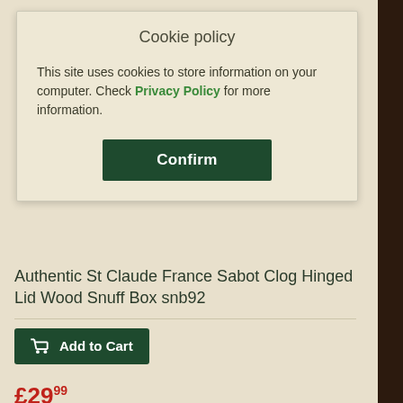Cookie policy
This site uses cookies to store information on your computer. Check Privacy Policy for more information.
Confirm
Authentic St Claude France Sabot Clog Hinged Lid Wood Snuff Box snb92
Add to Cart
£29.99